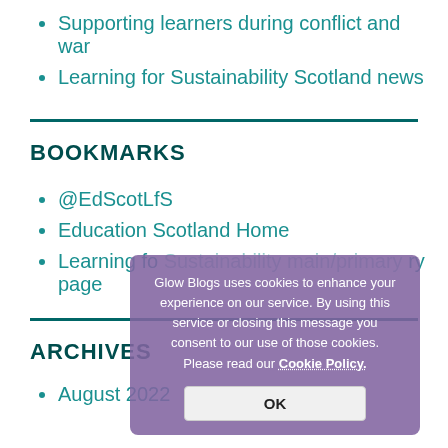Supporting learners during conflict and war
Learning for Sustainability Scotland news
BOOKMARKS
@EdScotLfS
Education Scotland Home
Learning for Sustainability main/primary page
ARCHIVES
August 2022
Glow Blogs uses cookies to enhance your experience on our service. By using this service or closing this message you consent to our use of those cookies. Please read our Cookie Policy.